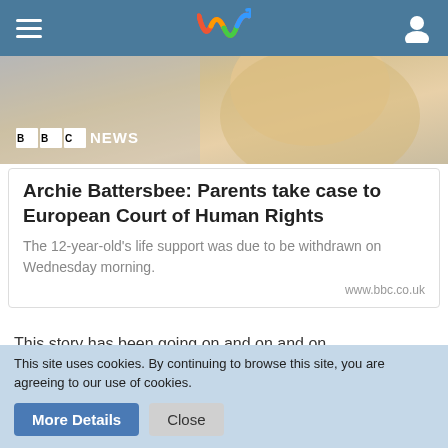Navigation bar with hamburger menu, Wavve logo, and user icon
[Figure (photo): Close-up photo of a person with blonde hair, BBC NEWS badge overlay in bottom left]
Archie Battersbee: Parents take case to European Court of Human Rights
The 12-year-old's life support was due to be withdrawn on Wednesday morning.
www.bbc.co.uk
This story has been going on and on and on.
I am afraid my view has hardened compared to when I made the orginal post. I'll say sorry right now, for what I'm about to
This site uses cookies. By continuing to browse this site, you are agreeing to our use of cookies.